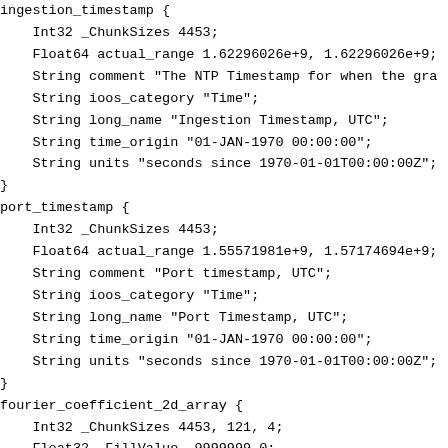ingestion_timestamp {
    Int32 _ChunkSizes 4453;
    Float64 actual_range 1.62296026e+9, 1.62296026e+9;
    String comment "The NTP Timestamp for when the gra
    String ioos_category "Time";
    String long_name "Ingestion Timestamp, UTC";
    String time_origin "01-JAN-1970 00:00:00";
    String units "seconds since 1970-01-01T00:00:00Z";
}
port_timestamp {
    Int32 _ChunkSizes 4453;
    Float64 actual_range 1.55571981e+9, 1.57174694e+9;
    String comment "Port timestamp, UTC";
    String ioos_category "Time";
    String long_name "Port Timestamp, UTC";
    String time_origin "01-JAN-1970 00:00:00";
    String units "seconds since 1970-01-01T00:00:00Z";
}
fourier_coefficient_2d_array {
    Int32 _ChunkSizes 4453, 121, 4;
    Float32 _FillValue -9999999.0;
    Float32 actual_range -4.5664, 4.5034;
    String comment "2d array of fourier coefficients";
    String coordinates "time lat lon";
    String ioos_category "Unknown";
    String long_name "Fourier Coefficient 2d Array";